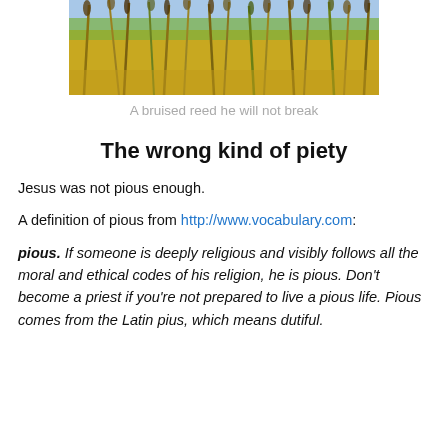[Figure (photo): Photograph of tall grass reeds bending in wind against a blue sky background]
A bruised reed he will not break
The wrong kind of piety
Jesus was not pious enough.
A definition of pious from http://www.vocabulary.com:
pious. If someone is deeply religious and visibly follows all the moral and ethical codes of his religion, he is pious. Don't become a priest if you're not prepared to live a pious life. Pious comes from the Latin pius, which means dutiful.